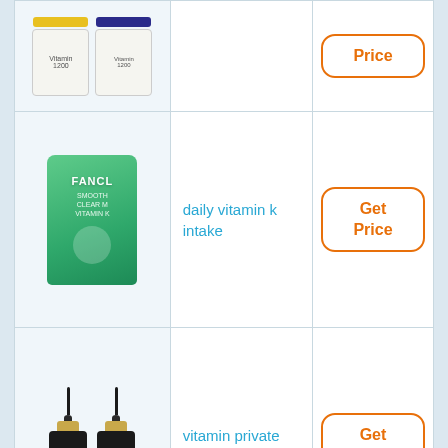[Figure (photo): Vitamin supplement pills product image - two boxes]
Price
[Figure (photo): FANCL Smooth Clear supplement green package]
daily vitamin k intake
Get Price
[Figure (photo): Two black dropper bottles vitamin private label supplement]
vitamin private label
Get Price
[Figure (photo): Product image partial - fourth row]